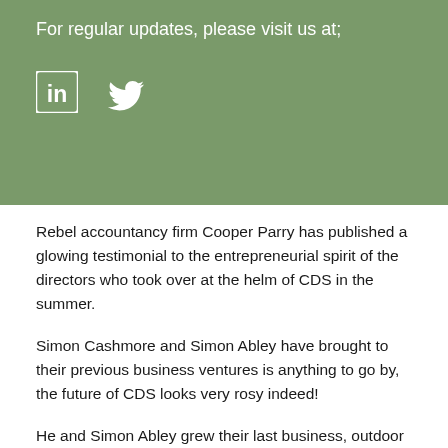For regular updates, please visit us at;
[Figure (logo): LinkedIn and Twitter social media icons in white on sage green background]
Rebel accountancy firm Cooper Parry has published a glowing testimonial to the entrepreneurial spirit of the directors who took over at the helm of CDS in the summer.
Simon Cashmore and Simon Abley have brought to their previous business ventures is anything to go by, the future of CDS looks very rosy indeed!
He and Simon Abley grew their last business, outdoor services specialist TCL Group, 14-fold in the 12 years between acquiring it and selling it to European giant idverde last year.